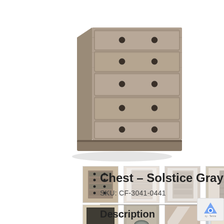[Figure (photo): Main product photo of a rustic gray wooden chest of drawers with dark metal knobs, photographed at an angle showing front and side]
[Figure (photo): Thumbnail row 1: 4 small product photos of the chest from various angles and colorways]
[Figure (photo): Thumbnail row 2: 4 small product photos showing detail shots and a room setting]
Chest – Solstice Gray
SKU: CF-3041-0441
Description